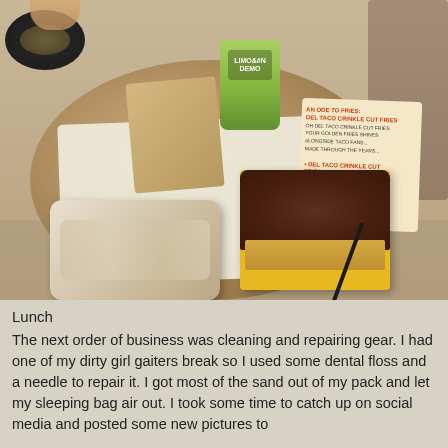[Figure (photo): Photo of a Del Taco meal on a round table: a large burrito wrapped in a flour tortilla on the left, chili cheese crinkle cut fries in a yellow container with a black fork/spoon on the right, a green drink cup, a paper bag, and a small dark bowl in the upper left corner. The Del Taco box reads 'AN ODE TO FRIES: DEL TACO CRINKLE CUT FRIES'.]
Lunch
The next order of business was cleaning and repairing gear. I had one of my dirty girl gaiters break so I used some dental floss and a needle to repair it. I got most of the sand out of my pack and let my sleeping bag air out. I took some time to catch up on social media and posted some new pictures to